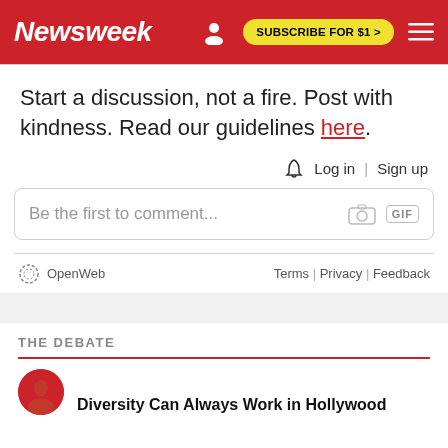Newsweek — SUBSCRIBE FOR $1 >
Start a discussion, not a fire. Post with kindness. Read our guidelines here.
🔔  Log in | Sign up
Be the first to comment...
OpenWeb   Terms | Privacy | Feedback
THE DEBATE
Diversity Can Always Work in Hollywood